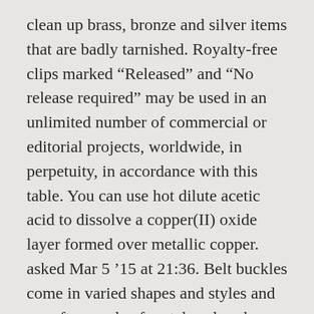clean up brass, bronze and silver items that are badly tarnished. Royalty-free clips marked “Released” and “No release required” may be used in an unlimited number of commercial or editorial projects, worldwide, in perpetuity, in accordance with this table. You can use hot dilute acetic acid to dissolve a copper(II) oxide layer formed over metallic copper. asked Mar 5 ’15 at 21:36. Belt buckles come in varied shapes and styles and are often made of metal such as brass, copper and bronze. 28th Jun, 2019. ... Dissolve benzotriazole in ETHANOL (3-5% solution) and soak the artefact from 1 hour to 2 days. The vinegar will work to dissolve the tarnish. I’m trying to post as much as I can for